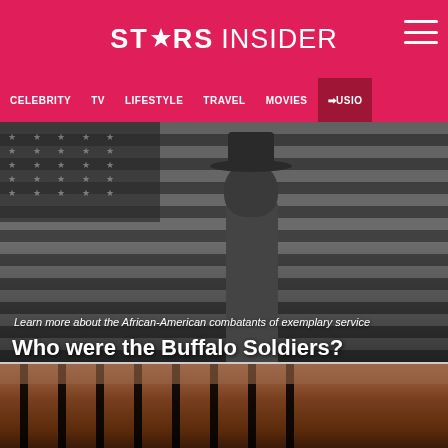STARS INSIDER
CELEBRITY  TV  LIFESTYLE  TRAVEL  MOVIES  MUSIC
[Figure (photo): Black and white photograph of an African-American soldier in uniform standing in front of an American flag]
Learn more about the African-American combatants of exemplary service
Who were the Buffalo Soldiers?
[Figure (photo): Partial view of a second photograph showing a warm-toned scene with dark vertical bars/rails in the foreground]